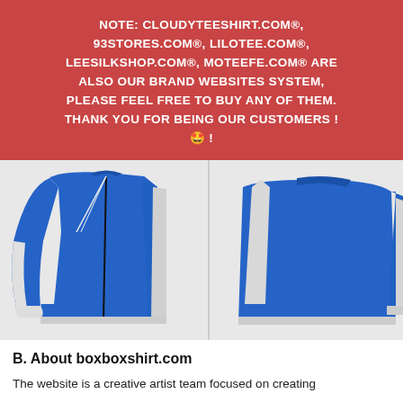NOTE: CLOUDYTEESHIRT.COM®, 93STORES.COM®, LILOTEE.COM®, LEESILKSHOP.COM®, MOTEEFE.COM® ARE ALSO OUR BRAND WEBSITES SYSTEM, PLEASE FEEL FREE TO BUY ANY OF THEM. THANK YOU FOR BEING OUR CUSTOMERS ! 🤩 !
[Figure (photo): Product image showing two views of a blue and white zip-up track jacket/hoodie with white stripe panels on the sides and sleeves.]
B. About boxboxshirt.com
The website is a creative artist team focused on creating